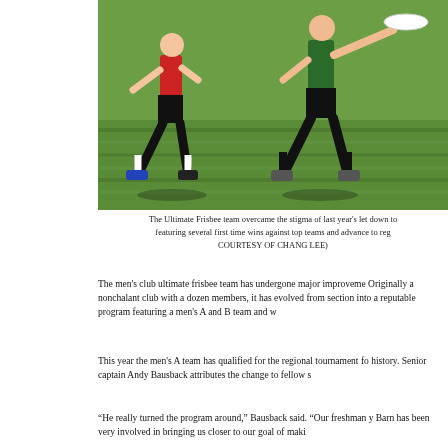[Figure (photo): Two players competing in an Ultimate Frisbee game on a grass field. One player in red/black jersey defending against a player in green/black jersey who is catching a white frisbee disc.]
The Ultimate Frisbee team overcame the stigma of last year's let down to featuring several first time wins against top teams and advance to reg COURTESY OF CHANG LEE)
The men's club ultimate frisbee team has undergone major improveme Originally a nonchalant club with a dozen members, it has evolved from section into a reputable program featuring a men's A and B team and w
This year the men's A team has qualified for the regional tournament fo history. Senior captain Andy Bausback attributes the change to fellow s
“He really turned the program around,” Bausback said. “Our freshman y Barn has been very involved in bringing us closer to our goal of maki